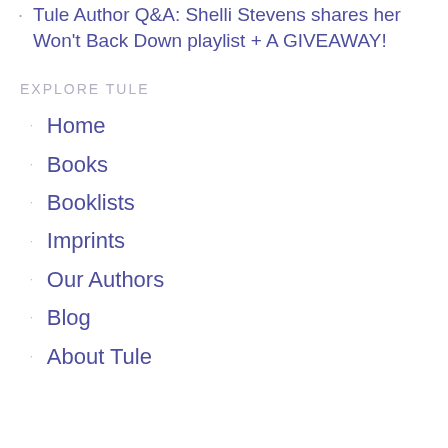Tule Author Q&A: Shelli Stevens shares her Won't Back Down playlist + A GIVEAWAY!
EXPLORE TULE
Home
Books
Booklists
Imprints
Our Authors
Blog
About Tule